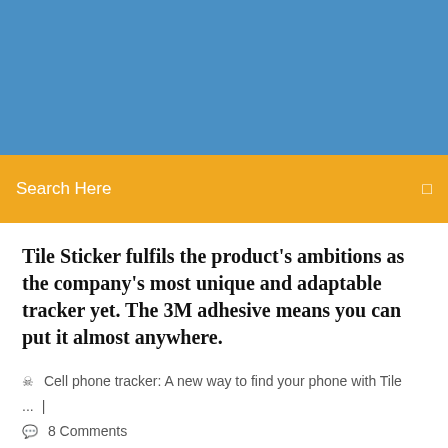[Figure (other): Blue header banner background]
Search Here
Tile Sticker fulfils the product's ambitions as the company's most unique and adaptable tracker yet. The 3M adhesive means you can put it almost anywhere.
Cell phone tracker: A new way to find your phone with Tile ... | 8 Comments
Fitbit Help - How do I track my sleep with my Fitbit device?